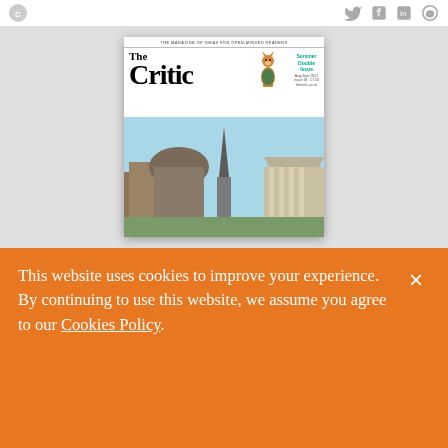The Critic magazine website header with social icons (Twitter, Facebook, LinkedIn, Email)
[Figure (illustration): Magazine cover of 'The Critic' - Summer Double Issue, Aug-Sept 2022, showing a fox in a suit overlooking a illustrated cityscape with domes, spires and classical architecture]
This website uses cookies to improve your experience. By continuing to use this website, we assume you agree to our Cookies Policy.